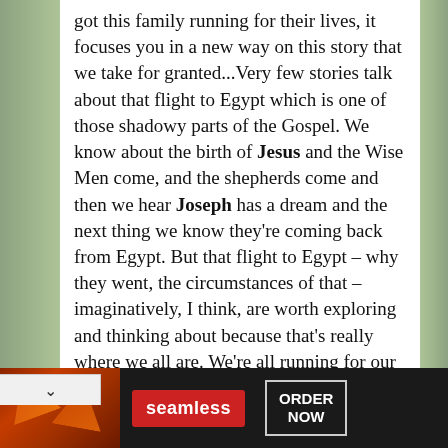got this family running for their lives, it focuses you in a new way on this story that we take for granted...Very few stories talk about that flight to Egypt which is one of those shadowy parts of the Gospel. We know about the birth of Jesus and the Wise Men come, and the shepherds come and then we hear Joseph has a dream and the next thing we know they're coming back from Egypt. But that flight to Egypt – why they went, the circumstances of that – imaginatively, I think, are worth exploring and thinking about because that's really where we all are. We're all running for our lives in some ways.
As I told you when we last talked, I think the other reason this story has so resonated is because ple have been in their own caves for the last
[Figure (infographic): Seamless food delivery advertisement banner with pizza image on left, red Seamless logo button in center, and ORDER NOW button in white border on right, all on dark background]